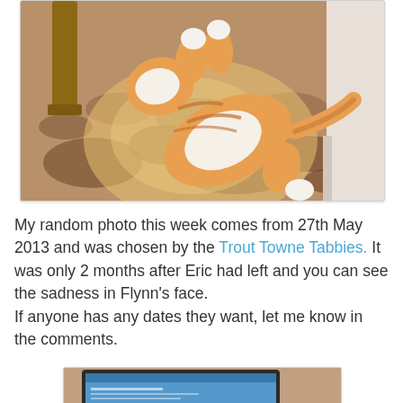[Figure (photo): A cat (orange and white tabby) lying on a patterned rug in a sunspot, with a wooden chair leg visible on the left and a white baseboard on the right. Photo is from 27th May 2013.]
My random photo this week comes from 27th May 2013 and was chosen by the Trout Towne Tabbies. It was only 2 months after Eric had left and you can see the sadness in Flynn's face.
If anyone has any dates they want, let me know in the comments.
[Figure (photo): A partial photo showing a laptop/monitor screen at the bottom of the page.]